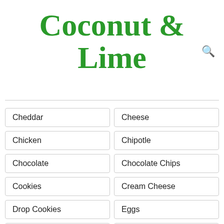Coconut & Lime
Cheddar
Cheese
Chicken
Chipotle
Chocolate
Chocolate Chips
Cookies
Cream Cheese
Drop Cookies
Eggs
Fresh Ginger
Grilling
Hard-Boiled Eggs
Holiday Leftover